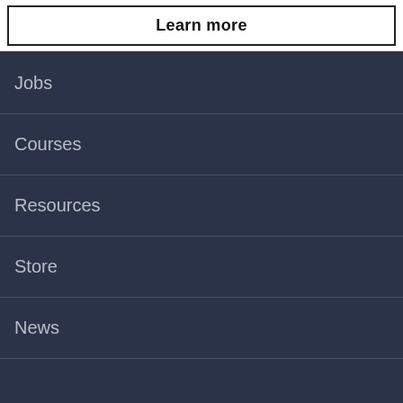Learn more
Jobs
Courses
Resources
Store
News